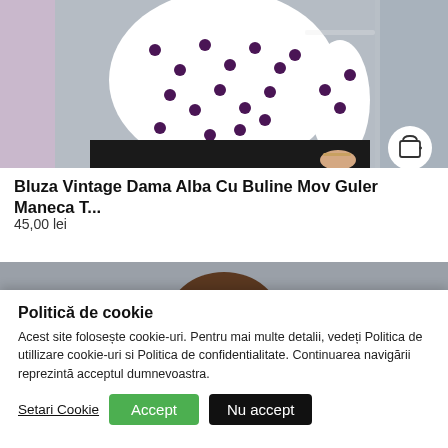[Figure (photo): Product photo of a white polka dot vintage blouse worn by a model, with a shopping cart button in the bottom right corner of the image]
Bluza Vintage Dama Alba Cu Buline Mov Guler Maneca T...
45,00 lei
[Figure (photo): Partial product photo showing a woman's face/head area against a gray background]
Politică de cookie
Acest site folosește cookie-uri. Pentru mai multe detalii, vedeți Politica de utillizare cookie-uri si Politica de confidentialitate. Continuarea navigării reprezintă acceptul dumnevoastra.
Setari Cookie | Accept | Nu accept